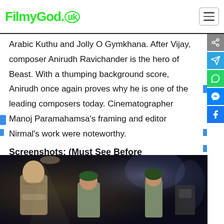FilmyGod.uk
Arabic Kuthu and Jolly O Gymkhana. After Vijay, composer Anirudh Ravichander is the hero of Beast. With a thumping background score, Anirudh once again proves why he is one of the leading composers today. Cinematographer Manoj Paramahamsa’s framing and editor Nirmal’s work were noteworthy.
Screenshots: (Must See Before Downloading)...
[Figure (photo): Movie screenshot showing military/action scene with actors in military uniforms]